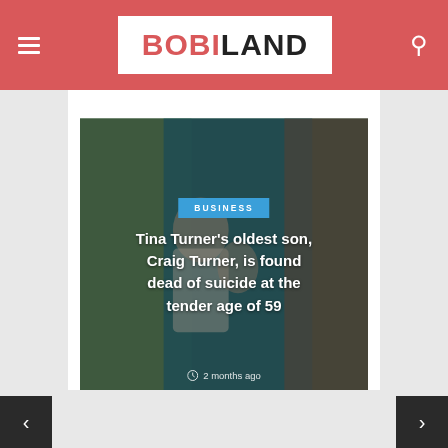BOBILAND
[Figure (photo): Article card showing a person hugging children in front of a teal door with plants, used as background image for the headline story]
Tina Turner's oldest son, Craig Turner, is found dead of suicide at the tender age of 59
BUSINESS
2 months ago